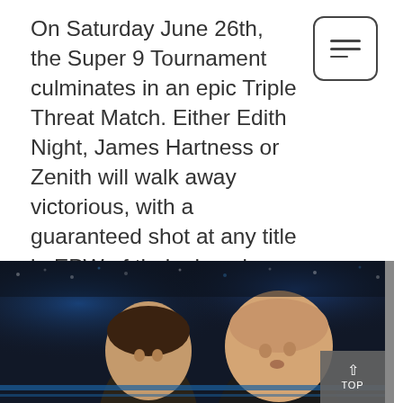On Saturday June 26th, the Super 9 Tournament culminates in an epic Triple Threat Match. Either Edith Night, James Hartness or Zenith will walk away victorious, with a guaranteed shot at any title in EPW of their choosing. There are loads more matches to be announced as well as exciting debuts from the EPW School
SCHOOL OF PRO WRESTLING,
[Figure (photo): Dark arena photo showing two wrestlers, one with short brown hair and one bald, against a blue-lit arena background]